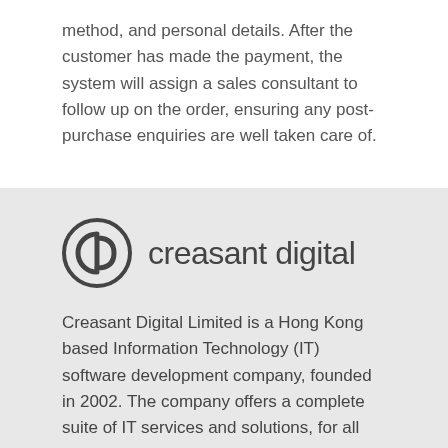method, and personal details. After the customer has made the payment, the system will assign a sales consultant to follow up on the order, ensuring any post-purchase enquiries are well taken care of.
[Figure (logo): Creasant Digital logo: a circular icon with 'CD' letters in dark grey, followed by the text 'creasant digital' in grey sans-serif]
Creasant Digital Limited is a Hong Kong based Information Technology (IT) software development company, founded in 2002. The company offers a complete suite of IT services and solutions, for all types of companies, regardless of size and industry, helping them thrive in this rapidly changing business world, where